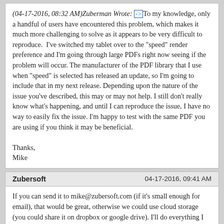(04-17-2016, 08:32 AM)Zuberman Wrote: [-> ]To my knowledge, only a handful of users have encountered this problem, which makes it much more challenging to solve as it appears to be very difficult to reproduce.  I've switched my tablet over to the "speed" render preference and I'm going through large PDFs right now seeing if the problem will occur. The manufacturer of the PDF library that I use when "speed" is selected has released an update, so I'm going to include that in my next release. Depending upon the nature of the issue you've described, this may or may not help. I still don't really know what's happening, and until I can reproduce the issue, I have no way to easily fix the issue. I'm happy to test with the same PDF you are using if you think it may be beneficial.

Thanks,
Mike
Zubersoft | 04-17-2016, 09:41 AM
If you can send it to mike@zubersoft.com (if it's small enough for email), that would be great, otherwise we could use cloud storage (you could share it on dropbox or google drive). I'll do everything I can to help get this issue addressed.